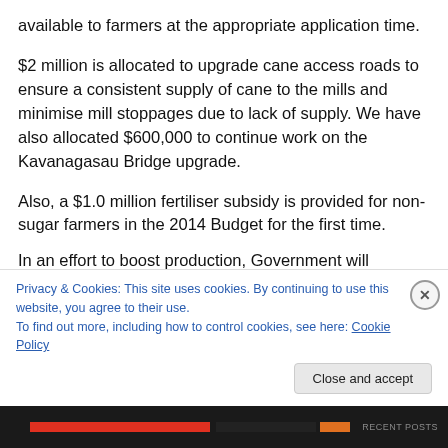available to farmers at the appropriate application time.
$2 million is allocated to upgrade cane access roads to ensure a consistent supply of cane to the mills and minimise mill stoppages due to lack of supply. We have also allocated $600,000 to continue work on the Kavanagasau Bridge upgrade.
Also, a $1.0 million fertiliser subsidy is provided for non-sugar farmers in the 2014 Budget for the first time.
In an effort to boost production, Government will continue
Privacy & Cookies: This site uses cookies. By continuing to use this website, you agree to their use.
To find out more, including how to control cookies, see here: Cookie Policy
Close and accept